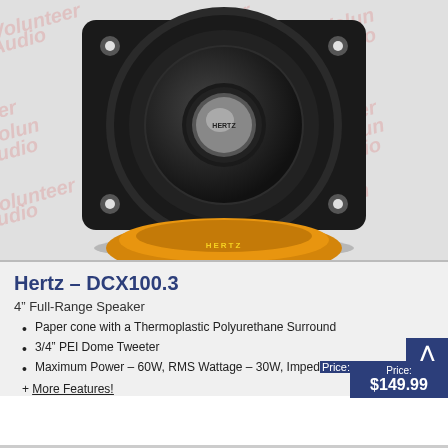[Figure (photo): Hertz DCX100.3 4-inch full-range coaxial speaker with black cone, silver dome tweeter labeled HERTZ, square mounting plate with mounting holes, and orange thermoplastic polyurethane surround visible at bottom. Background has Volunteer Audio watermark repeated pattern.]
Hertz – DCX100.3
4" Full-Range Speaker
Paper cone with a Thermoplastic Polyurethane Surround
3/4" PEI Dome Tweeter
Maximum Power – 60W, RMS Wattage – 30W, Imped... 4 ...
+ More Features!
Price: $149.99